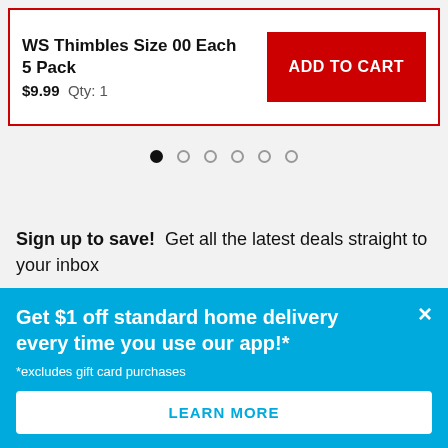WS Thimbles Size 00 Each 5 Pack $9.99 Qty: 1
ADD TO CART
[Figure (other): Carousel pagination dots — one filled black dot followed by five empty circle dots]
Sign up to save! Get all the latest deals straight to your inbox
Your email address
Get $1 off standard home delivery every time you use our app!* *excludes gift card purchases
LEARN MORE